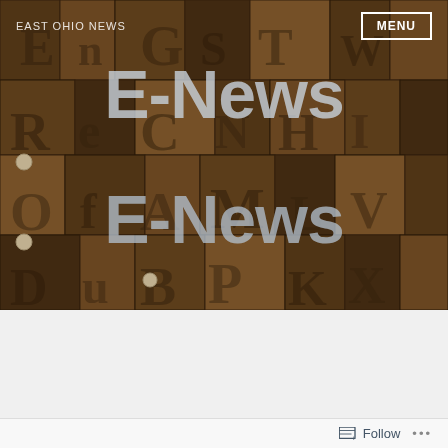EAST OHIO NEWS
[Figure (photo): Close-up photo of old wooden letterpress type blocks arranged closely together, dark brown wood with embossed letters visible. Overlaid with large semi-transparent text 'E-News' appearing twice.]
E-News
E-News
SEPTEMBER 10, 2018
SEPTEMBER 10, 2018
Follow ...